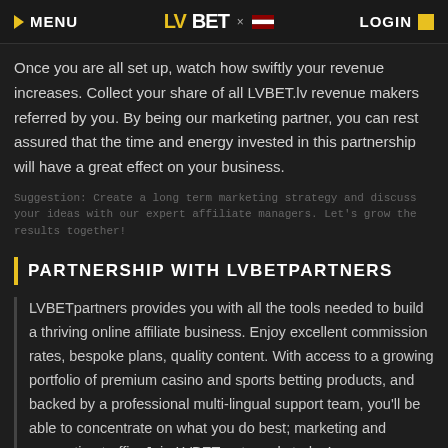MENU | LVBET × [flag] | LOGIN
Once you are all set up, watch how swiftly your revenue increases. Collect your share of all LVBET.lv revenue makers referred by you. By being our marketing partner, you can rest assured that the time and energy invested in this partnership will have a great effect on your business.
Suggestion: Create a long term marketing strategy and discuss your ideas with our expert affiliate managers. Let's grow the results together!
PARTNERSHIP WITH LVBETPARTNERS
LVBETpartners provides you with all the tools needed to build a thriving online affiliate business. Enjoy excellent commission rates, bespoke plans, quality content. With access to a growing portfolio of premium casino and sports betting products, and backed by a professional multi-lingual support team, you'll be able to concentrate on what you do best; marketing and generating traffic. Join LVBETpartners.lv today!